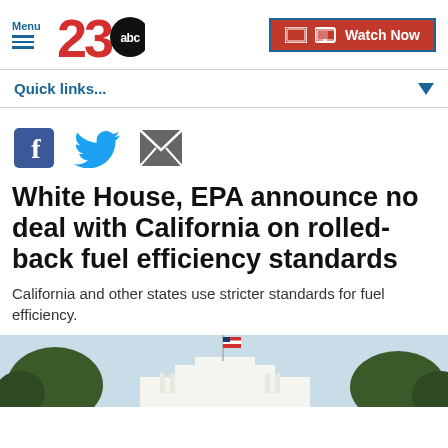Menu | 23abc | Watch Now
Quick links...
[Figure (other): Social share icons: Facebook, Twitter, Email]
White House, EPA announce no deal with California on rolled-back fuel efficiency standards
California and other states use stricter standards for fuel efficiency.
[Figure (photo): Photo of the White House with an American flag and trees]